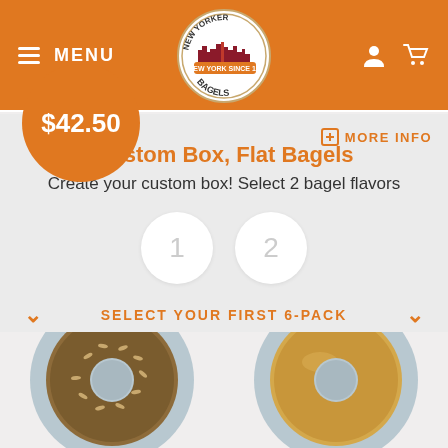≡ MENU | New Yorker Bagels (logo) | user icon | cart icon
$42.50
+ MORE INFO
Custom Box, Flat Bagels
Create your custom box! Select 2 bagel flavors
1  2
SELECT YOUR FIRST 6-PACK
[Figure (photo): Two bagels on blue plates shown at the bottom: left is a seeded/whole wheat bagel, right is a plain/egg bagel]